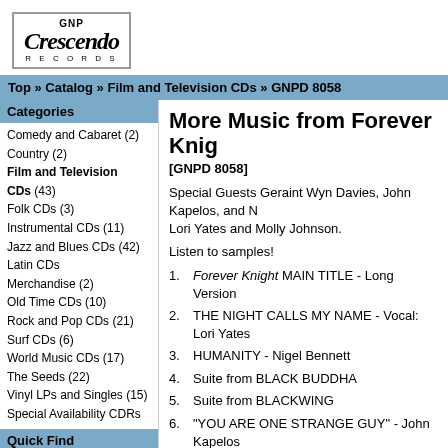[Figure (logo): GNP Crescendo Records logo in black italic serif font inside a bordered box]
Top » Catalog » Film and Television CDs » GNPD 8058
Categories
Comedy and Cabaret (2)
Country (2)
Film and Television CDs (43)
Folk CDs (3)
Instrumental CDs (11)
Jazz and Blues CDs (42)
Latin CDs
Merchandise (2)
Old Time CDs (10)
Rock and Pop CDs (21)
Surf CDs (6)
World Music CDs (17)
The Seeds (22)
Vinyl LPs and Singles (15)
Special Availability CDRs
Quick Find
More Music from Forever Knight
[GNPD 8058]
Special Guests Geraint Wyn Davies, John Kapelos, and N... Lori Yates and Molly Johnson.
Listen to samples!
1. Forever Knight MAIN TITLE - Long Version
2. THE NIGHT CALLS MY NAME - Vocal: Lori Yates
3. HUMANITY - Nigel Bennett
4. Suite from BLACK BUDDHA
5. Suite from BLACKWING
6. "YOU ARE ONE STRANGE GUY" - John Kapelos
7. Suite from THE HUMAN FACTOR
8. HEART OF DARKNESS - Vocal: Lori Yates